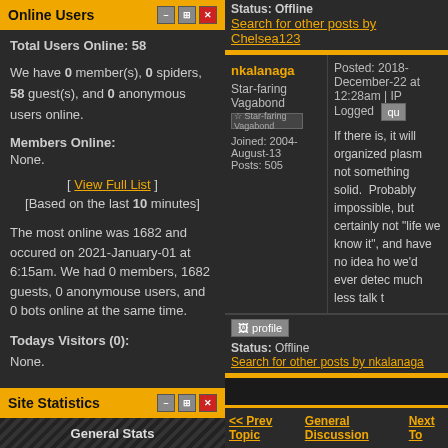Online Users
Total Users Online: 58
We have 0 member(s), 0 spiders, 58 guest(s), and 0 anonymous users online.
Members Online:
None.
[ View Full List ]
[Based on the last 10 minutes]
The most online was 1682 and occured on 2021-January-01 at 6:15am. We had 0 members, 1682 guests, 0 anonymouse users, and 0 bots online at the same time.
Todays Visitors (0):
None.
Site Statistics
General Stats
Status: Offline
Search for other posts by Chelsea123
nkalanaga
Star-faring Vagabond
Joined: 2004-August-13
Posts: 505
Posted: 2018-December-22 at 12:28am | IP Logged
If there is, it will organized plasm not something solid. Probably impossible, but certainly not "life we know it", and have no idea ho we'd ever detec much less talk t
profile
Status: Offline
Search for other posts by nkalanaga
<< Prev Topic
General Discussion
Next Topic